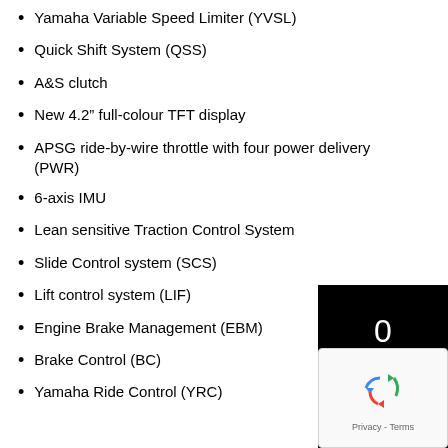Yamaha Variable Speed Limiter (YVSL)
Quick Shift System (QSS)
A&S clutch
New 4.2” full-colour TFT display
APSG ride-by-wire throttle with four power delivery (PWR)
6-axis IMU
Lean sensitive Traction Control System
Slide Control system (SCS)
Lift control system (LIF)
Engine Brake Management (EBM)
Brake Control (BC)
Yamaha Ride Control (YRC)
[Figure (other): Black overlay box with the number 0 in white, partially obscuring content on the right side]
[Figure (other): Google reCAPTCHA widget showing recycling arrows logo and Privacy - Terms text]